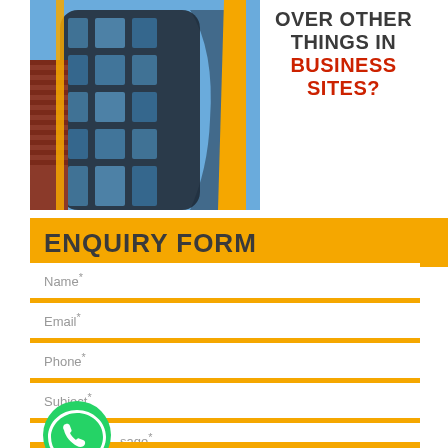[Figure (photo): Curved modern glass office building exterior, shot from below against blue sky]
OVER OTHER THINGS IN BUSINESS SITES?
ENQUIRY FORM
Name*
Email*
Phone*
Subject*
Message*
[Figure (logo): WhatsApp green circle logo icon]